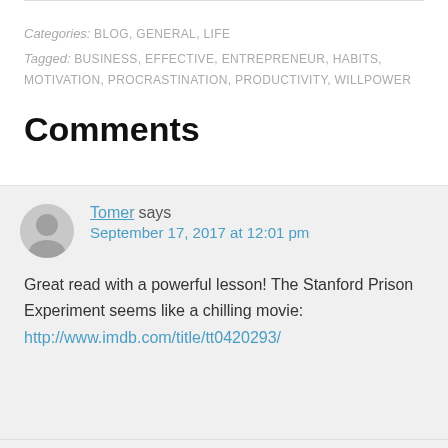Categories: BLOG, GENERAL, LIFE
Tagged: BUSINESS, EFFECTIVE, ENTREPRENEUR, HABITS, MOTIVATION, PROCRASTINATION, PRODUCTIVITY, WILLPOWER
Comments
Tomer says
September 17, 2017 at 12:01 pm
Great read with a powerful lesson! The Stanford Prison Experiment seems like a chilling movie:
http://www.imdb.com/title/tt0420293/